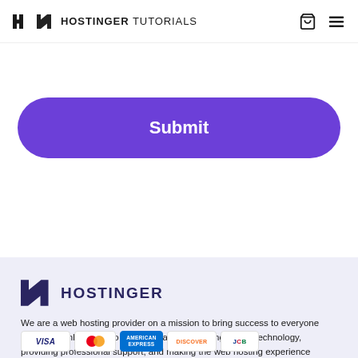HOSTINGER TUTORIALS
[Figure (other): Purple rounded Submit button]
[Figure (logo): Hostinger logo with stylized H icon and HOSTINGER wordmark in dark navy]
We are a web hosting provider on a mission to bring success to everyone who goes online. We do it by constantly improving server technology, providing professional support, and making the web hosting experience seamless.
[Figure (other): Payment method logos: VISA, Mastercard, American Express, Discover, JCB]